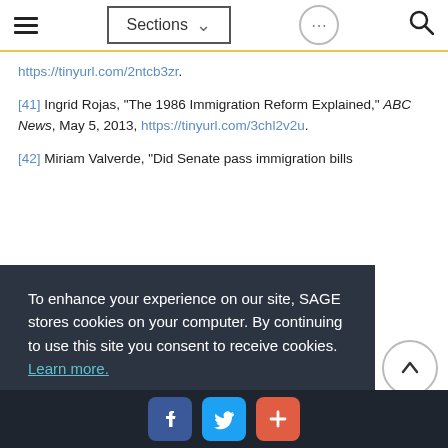Sections navigation bar with hamburger menu, Sections dropdown, dots button, search icon
https://tinyurl.com/2ntcb3zr.
[41] Ingrid Rojas, "The 1986 Immigration Reform Explained," ABC News, May 5, 2013, https://tinyurl.com/3chl2v2u.
[42] Miriam Valverde, "Did Senate pass immigration bills
To enhance your experience on our site, SAGE stores cookies on your computer. By continuing to use this site you consent to receive cookies. Learn more. Continue
Social share bar: Facebook, Twitter, Plus